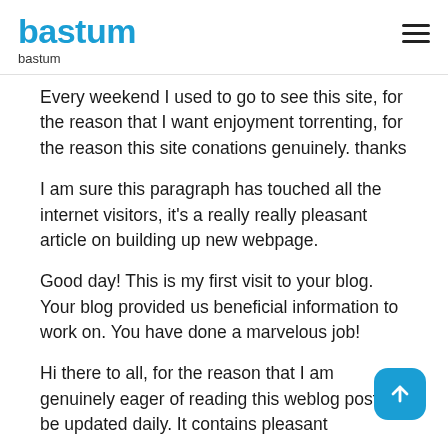bastum
bastum
Every weekend I used to go to see this site, for the reason that I want enjoyment torrenting, for the reason this site conations genuinely. thanks
I am sure this paragraph has touched all the internet visitors, it's a really really pleasant article on building up new webpage.
Good day! This is my first visit to your blog. Your blog provided us beneficial information to work on. You have done a marvelous job!
Hi there to all, for the reason that I am genuinely eager of reading this weblog post to be updated daily. It contains pleasant